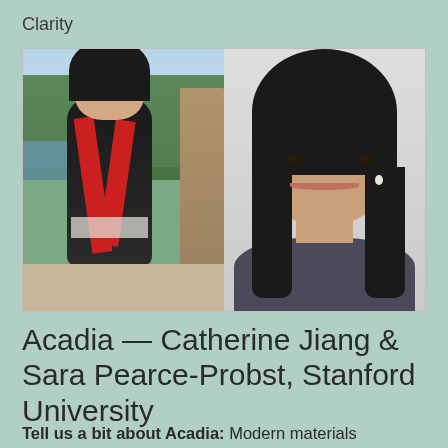Clarity
[Figure (photo): Two side-by-side photos: on the left, a woman in a black dress with a red graduation sash standing outdoors near water and trees; on the right, a headshot of a woman with long dark hair smiling against a light background.]
Acadia — Catherine Jiang & Sara Pearce-Probst, Stanford University
Tell us a bit about Acadia: Modern materials